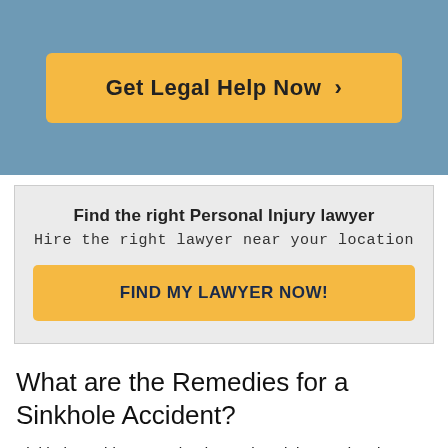[Figure (other): Blue banner with gold 'Get Legal Help Now >' button]
Find the right Personal Injury lawyer
Hire the right lawyer near your location
FIND MY LAWYER NOW!
What are the Remedies for a Sinkhole Accident?
Sinkhole accidents can lead to serious injury and major property damage. In many instances, a sinkhole accident can result in a lawsuit to resolve any outstanding legal issues. In such lawsuits, the remedy will usually involve some form of monetary damages award to compensate